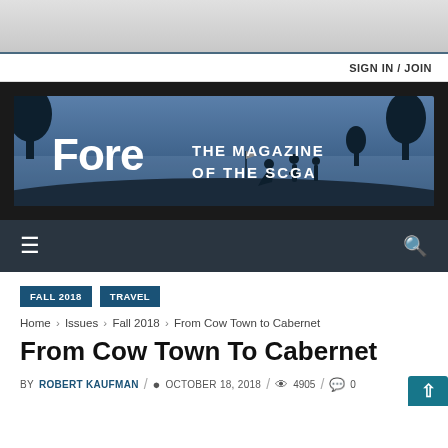SIGN IN / JOIN
[Figure (logo): Fore - The Magazine of the SCGA banner with blue toned golf silhouettes background]
FALL 2018  TRAVEL
Home › Issues › Fall 2018 › From Cow Town to Cabernet
From Cow Town To Cabernet
BY ROBERT KAUFMAN / OCTOBER 18, 2018 / 4905 / 0